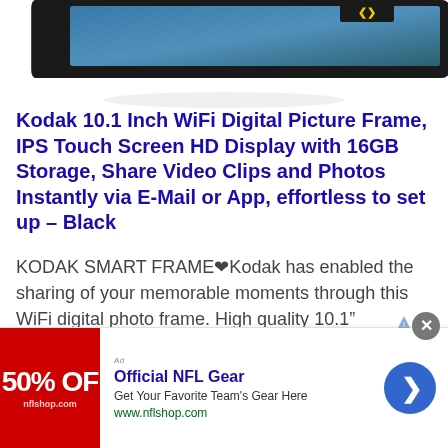[Figure (photo): Kodak digital picture frame product photo, black frame with screen, partially visible at top of page]
Kodak 10.1 Inch WiFi Digital Picture Frame, IPS Touch Screen HD Display with 16GB Storage, Share Video Clips and Photos Instantly via E-Mail or App, effortless to set up – Black
KODAK SMART FRAME—Kodak has enabled the sharing of your memorable moments through this WiFi digital photo frame. High quality 10.1" touchscreen display with 1280*800 resolution (aspect ratio 16:10) is a great gift for new parents, grandparents,
[Figure (illustration): Advertisement banner for Official NFL Gear: red banner with '50% OFF' text, NFL shop logo, title 'Official NFL Gear', subtitle 'Get Your Favorite Team’s Gear Here', URL 'www.nflshop.com', blue arrow button, close X button]